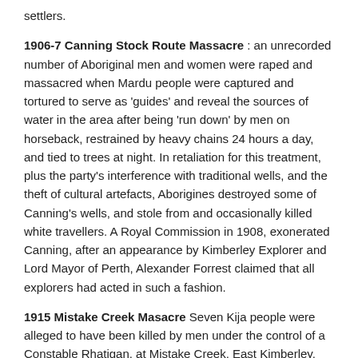settlers.
1906-7 Canning Stock Route Massacre : an unrecorded number of Aboriginal men and women were raped and massacred when Mardu people were captured and tortured to serve as 'guides' and reveal the sources of water in the area after being 'run down' by men on horseback, restrained by heavy chains 24 hours a day, and tied to trees at night. In retaliation for this treatment, plus the party's interference with traditional wells, and the theft of cultural artefacts, Aborigines destroyed some of Canning's wells, and stole from and occasionally killed white travellers. A Royal Commission in 1908, exonerated Canning, after an appearance by Kimberley Explorer and Lord Mayor of Perth, Alexander Forrest claimed that all explorers had acted in such a fashion.
1915 Mistake Creek Masacre Seven Kija people were alleged to have been killed by men under the control of a Constable Rhatigan, at Mistake Creek, East Kimberley. The massacre is supposed to be in reprisal for allegedly killing Rhatigan's cow, however the cow is claimed to have been found alive after the massacre had already taken place. Rhatigan was arrested for wilful murder apparently due to the fact that the killers were riding horses which belonged to him, but the charges were dropped, for lack of evidence that he was